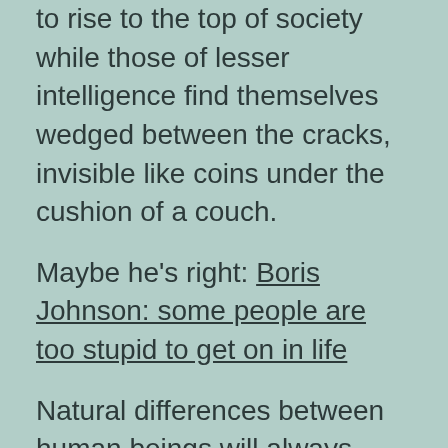to rise to the top of society while those of lesser intelligence find themselves wedged between the cracks, invisible like coins under the cushion of a couch.
Maybe he's right: Boris Johnson: some people are too stupid to get on in life
Natural differences between human beings will always mean that some will succeed and others will fail, the Mayor of London says in a speech. Despite calling for more to be done to help talented people from poor backgrounds to advance — including state-funded places at private schools — Mr. Johnson said some